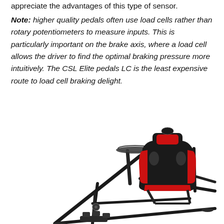appreciate the advantages of this type of sensor.
Note: higher quality pedals often use load cells rather than rotary potentiometers to measure inputs. This is particularly important on the brake axis, where a load cell allows the driver to find the optimal braking pressure more intuitively. The CSL Elite pedals LC is the least expensive route to load cell braking delight.
[Figure (photo): A racing simulator cockpit/rig with a black metal frame, a steering wheel mount, pedal base, and a black and red racing bucket seat mounted on the frame.]